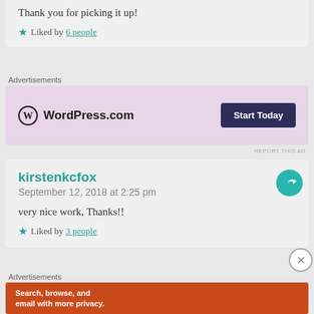Thank you for picking it up!
★ Liked by 6 people
Advertisements
[Figure (other): WordPress.com advertisement banner with logo and 'Start Today' button on lavender background]
REPORT THIS AD
kirstenkcfox
September 12, 2018 at 2:25 pm
very nice work, Thanks!!
★ Liked by 3 people
Advertisements
[Figure (other): DuckDuckGo advertisement: 'Search, browse, and email with more privacy. All in One Free App' on orange background with phone image]